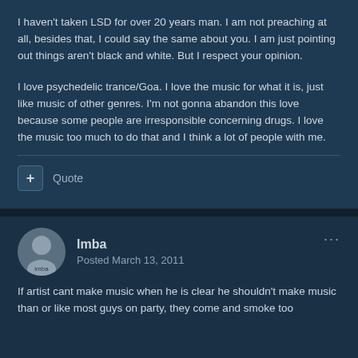I haven't taken LSD for over 20 years man. I am not preaching at all, besides that, I could say the same about you. I am just pointing out things aren't black and white. But I respect your opinion.
I love psychedelic trance/Goa. I love the music for what it is, just like music of other genres. I'm not gonna abandon this love because some people are irresponsible concerning drugs. I love the music too much to do that and I think a lot of people with me.
Quote
Imba
Posted March 13, 2011
If artist cant make music when he is clear he shouldn't make music than or like most guys on party, they come and smoke too